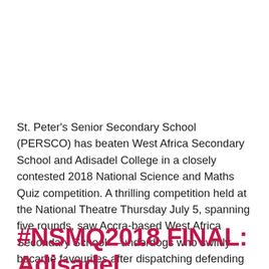St. Peter's Senior Secondary School (PERSCO) has beaten West Africa Secondary School and Adisadel College in a closely contested 2018 National Science and Maths Quiz competition. A thrilling competition held at the National Theatre Thursday July 5, spanning five rounds, saw Accra-based West Africa Secondary School —underdogs who swiftly became favourites after dispatching defending champions, […]
#NSMQ2018 FINAL: Adisadel College vs St. Peter's SHS...